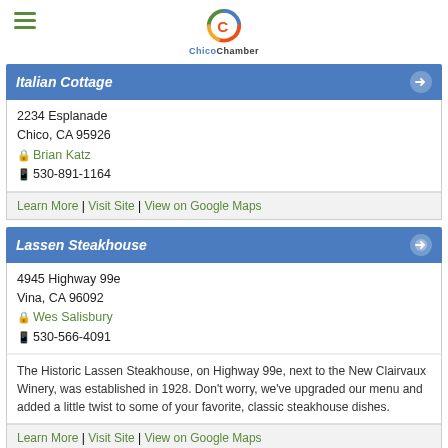ChicoChamber
Italian Cottage
2234 Esplanade
Chico, CA 95926
Brian Katz
530-891-1164
Learn More | Visit Site | View on Google Maps
Lassen Steakhouse
4945 Highway 99e
Vina, CA 96092
Wes Salisbury
530-566-4091
The Historic Lassen Steakhouse, on Highway 99e, next to the New Clairvaux Winery, was established in 1928. Don't worry, we've upgraded our menu and added a little twist to some of your favorite, classic steakhouse dishes.
Learn More | Visit Site | View on Google Maps
Modern Building, Inc.
3083 Southgate Lane
530-891-4333
Property Management, Repair, Office Building